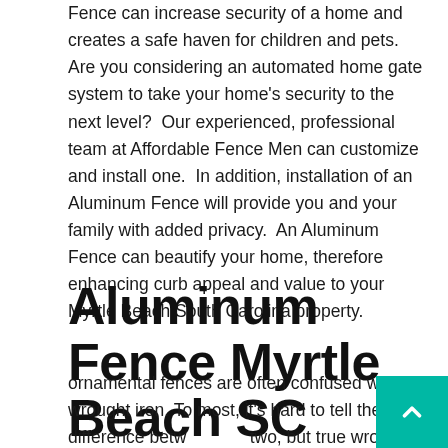Fence can increase security of a home and creates a safe haven for children and pets.  Are you considering an automated home gate system to take your home's security to the next level?  Our experienced, professional team at Affordable Fence Men can customize and install one.  In addition, installation of an Aluminum Fence will provide you and your family with added privacy.  An Aluminum Fence can beautify your home, therefore enhancing curb appeal and value to your Myrtle Beach South Carolina property.
Aluminum Fence Myrtle Beach SC
ornamental fences are often confused with wrought iron. To most, it's hard to tell the difference between the two, but true wrought iron is a welded steel product that tends to be cost prohibitive as a backyard fence. that tends to be cost prohibitive as a backyard fence.